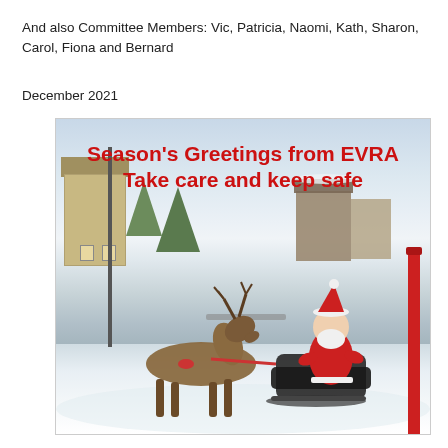And also Committee Members: Vic, Patricia, Naomi, Kath, Sharon, Carol, Fiona and Bernard
December 2021
[Figure (photo): A winter/Christmas scene photograph showing Santa Claus riding a sleigh pulled by a reindeer on a snowy street. Snow-covered trees, buildings, and road are visible. Overlaid in bold red text: 'Season’s Greetings from EVRA / Take care and keep safe']